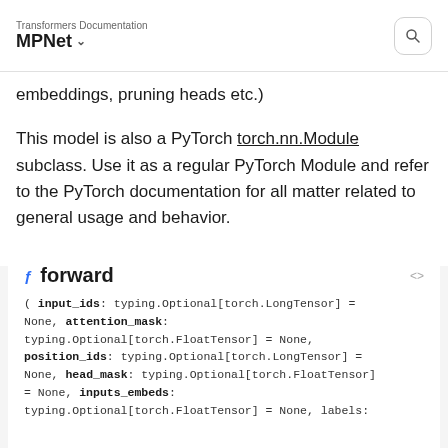Transformers Documentation
MPNet
embeddings, pruning heads etc.)
This model is also a PyTorch torch.nn.Module subclass. Use it as a regular PyTorch Module and refer to the PyTorch documentation for all matter related to general usage and behavior.
forward
( input_ids: typing.Optional[torch.LongTensor] = None, attention_mask: typing.Optional[torch.FloatTensor] = None, position_ids: typing.Optional[torch.LongTensor] = None, head_mask: typing.Optional[torch.FloatTensor] = None, inputs_embeds: typing.Optional[torch.FloatTensor] = None, labels: